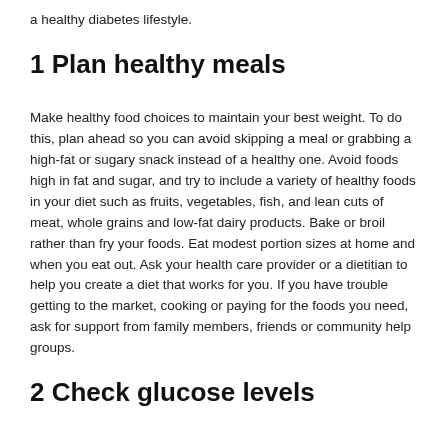a healthy diabetes lifestyle.
1 Plan healthy meals
Make healthy food choices to maintain your best weight. To do this, plan ahead so you can avoid skipping a meal or grabbing a high-fat or sugary snack instead of a healthy one. Avoid foods high in fat and sugar, and try to include a variety of healthy foods in your diet such as fruits, vegetables, fish, and lean cuts of meat, whole grains and low-fat dairy products. Bake or broil rather than fry your foods. Eat modest portion sizes at home and when you eat out. Ask your health care provider or a dietitian to help you create a diet that works for you. If you have trouble getting to the market, cooking or paying for the foods you need, ask for support from family members, friends or community help groups.
2 Check glucose levels